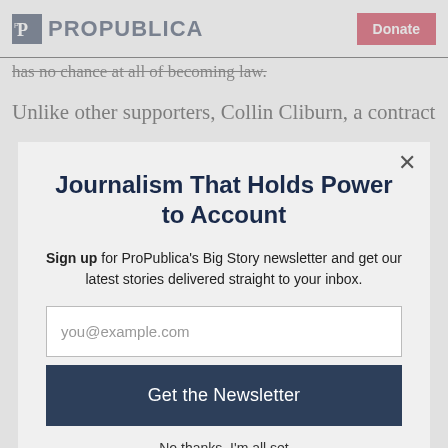ProPublica | Donate
has no chance at all of becoming law.
Unlike other supporters, Collin Cliburn, a contractor
Journalism That Holds Power to Account
Sign up for ProPublica's Big Story newsletter and get our latest stories delivered straight to your inbox.
you@example.com
Get the Newsletter
No thanks, I'm all set
This site is protected by reCAPTCHA and the Google Privacy Policy and Terms of Service apply.